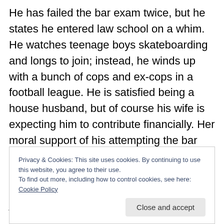He has failed the bar exam twice, but he states he entered law school on a whim. He watches teenage boys skateboarding and longs to join; instead, he winds up with a bunch of cops and ex-cops in a football league. He is satisfied being a house husband, but of course his wife is expecting him to contribute financially. Her moral support of his attempting the bar exam has crossed from wishing him well into an expectation that he will fail and not pull his financial weight. Sarah's case is just as simple: her husband isn't interested in her. She wants to be significant. She is intelligent, but decides that the only way
Privacy & Cookies: This site uses cookies. By continuing to use this website, you agree to their use. To find out more, including how to control cookies, see here: Cookie Policy